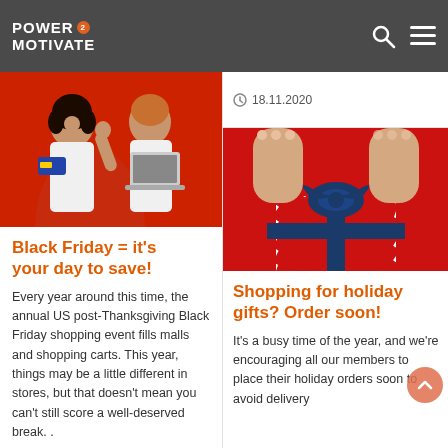Power2Motivate — navigation bar with logo, search icon, and menu icon
[Figure (photo): Two people on red background, one holding a credit card and one holding a laptop, excited expression]
Black Friday = it's your day to save!
Every year around this time, the annual US post-Thanksgiving Black Friday shopping event fills malls and shopping carts. This year, things may be a little different in stores, but that doesn't mean you can't still score a well-deserved break. .
18.11.2020
[Figure (photo): Hands holding a red and white striped gift box with a blue bow on a red background]
Shopping for holiday gifts? Order soon!
It's a busy time of the year, and we're encouraging all our members to place their holiday orders soon to avoid delivery